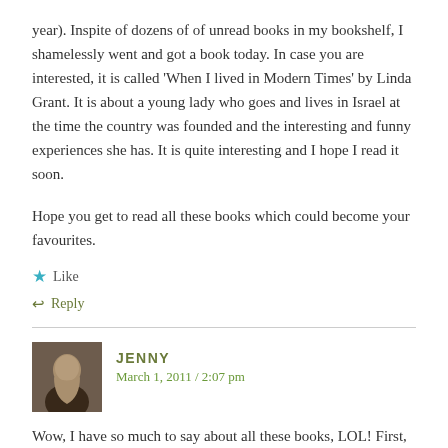year). Inspite of dozens of of unread books in my bookshelf, I shamelessly went and got a book today. In case you are interested, it is called 'When I lived in Modern Times' by Linda Grant. It is about a young lady who goes and lives in Israel at the time the country was founded and the interesting and funny experiences she has. It is quite interesting and I hope I read it soon.
Hope you get to read all these books which could become your favourites.
★ Like
↩ Reply
JENNY
March 1, 2011 / 2:07 pm
Wow, I have so much to say about all these books, LOL! First, thanks